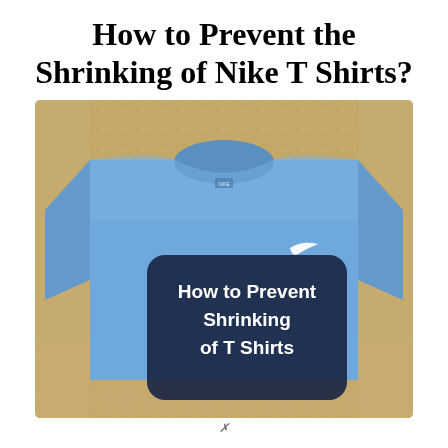How to Prevent the Shrinking of Nike T Shirts?
[Figure (photo): Photo of a blue Nike T-shirt laid flat on a patterned beige/brown surface. The shirt is light blue with a white Nike swoosh on the chest. Over the shirt there is a dark navy rounded rectangle overlay containing white bold text reading 'How to Prevent Shrinking of T Shirts'.]